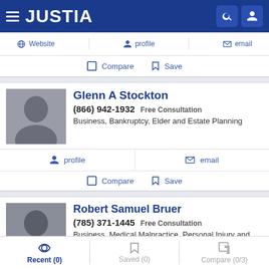JUSTIA
Website  profile  email
Compare  Save
Glenn A Stockton
(866) 942-1932  Free Consultation
Business, Bankruptcy, Elder and Estate Planning
profile  email
Compare  Save
Robert Samuel Bruer
(785) 371-1445  Free Consultation
Business, Medical Malpractice, Personal Injury and Produc...
Recent (0)  Saved (0)  Compare (0/3)